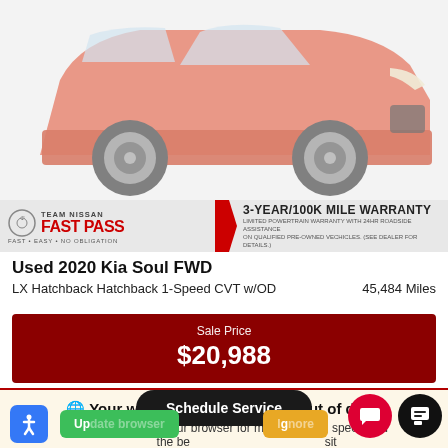[Figure (photo): Red Kia Soul SUV on light gray background, front three-quarter view]
[Figure (infographic): Team Nissan Fast Pass banner with 3-Year/100K Mile Warranty badge. Left side has Team Nissan Fast Pass logo in red and gray, tagline FAST • EASY • NO OBLIGATION. Right side says 3-YEAR/100K MILE WARRANTY with subtext LIMITED POWERTRAIN WARRANTY WITH 24HR ROADSIDE ASSISTANCE ON QUALIFIED PRE-OWNED VECHICLES. (SEE DEALER FOR DETAILS.)]
Used 2020 Kia Soul FWD
LX Hatchback Hatchback 1-Speed CVT w/OD	45,484 Miles
Sale Price
$20,988
We use cookies to optimize our website and our service.
Cookie Policy   Privacy Statement
Your web browser (iOS 11) is out of date.
Update your browser for more security, speed and the best experience on this site.
Schedule Service
Update browser
Ignore